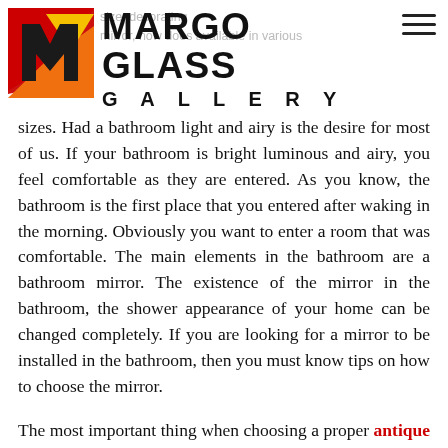MARGO GLASS GALLERY
sizes. Had a bathroom light and airy is the desire for most of us. If your bathroom is bright luminous and airy, you feel comfortable as they are entered. As you know, the bathroom is the first place that you entered after waking in the morning. Obviously you want to enter a room that was comfortable. The main elements in the bathroom are a bathroom mirror. The existence of the mirror in the bathroom, the shower appearance of your home can be changed completely. If you are looking for a mirror to be installed in the bathroom, then you must know tips on how to choose the mirror.
The most important thing when choosing a proper antique wall mirrors is that you must know the size of the bathroom. If a small bathroom, then you should use a single mirror. Installing double mirror in the bathroom